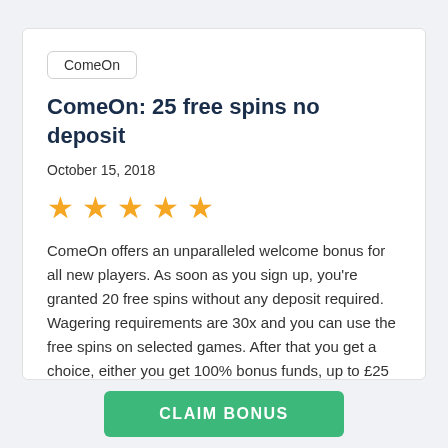ComeOn
ComeOn: 25 free spins no deposit
October 15, 2018
[Figure (other): Five gold star rating icons]
ComeOn offers an unparalleled welcome bonus for all new players. As soon as you sign up, you're granted 20 free spins without any deposit required. Wagering requirements are 30x and you can use the free spins on selected games. After that you get a choice, either you get 100% bonus funds, up to £25 or… View Article
CLAIM BONUS